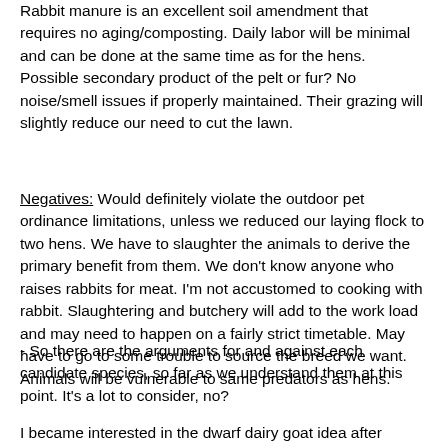Rabbit manure is an excellent soil amendment that requires no aging/composting. Daily labor will be minimal and can be done at the same time as for the hens. Possible secondary product of the pelt or fur? No noise/smell issues if properly maintained. Their grazing will slightly reduce our need to cut the lawn.
Negatives: Would definitely violate the outdoor pet ordinance limitations, unless we reduced our laying flock to two hens. We have to slaughter the animals to derive the primary benefit from them. We don't know anyone who raises rabbits for meat. I'm not accustomed to cooking with rabbit. Slaughtering and butchery will add to the work load and may need to happen on a fairly strict timetable. May have to go to some trouble to source the breed we want. Animals will be vulnerable to same predators as hens.
- So there are the arguments for and against each candidate species, so far as we understand them at this point. It's a lot to consider, no?
I became interested in the dwarf dairy goat idea after reading